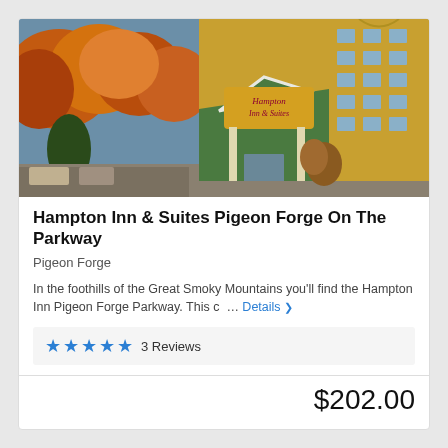[Figure (photo): Exterior photo of Hampton Inn & Suites Pigeon Forge showing yellow building with green roof, Hampton Inn & Suites sign at entrance, tall tower, fall foliage trees to the left]
Hampton Inn & Suites Pigeon Forge On The Parkway
Pigeon Forge
In the foothills of the Great Smoky Mountains you'll find the Hampton Inn Pigeon Forge Parkway. This c … Details
★★★★★ 3 Reviews
$202.00